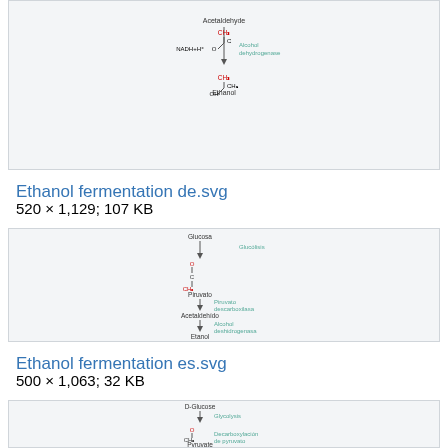[Figure (schematic): Thumbnail of ethanol fermentation DE SVG showing acetaldehyde to ethanol chemical reaction pathway with alcohol dehydrogenase enzyme, molecular structures drawn in line notation]
Ethanol fermentation de.svg
520 × 1,129; 107 KB
[Figure (schematic): Thumbnail of ethanol fermentation ES SVG showing Glucose to Pyruvate to Acetaldehyde to Ethanol pathway in Spanish, with Glycolysis and Pyruvate decarboxylase labels, chemical structures]
Ethanol fermentation es.svg
500 × 1,063; 32 KB
[Figure (schematic): Thumbnail of another ethanol fermentation SVG showing D-Glucose to Pyruvate with Glycolysis label, Decarboxylacion de pyruvato label, molecular structures in line notation]